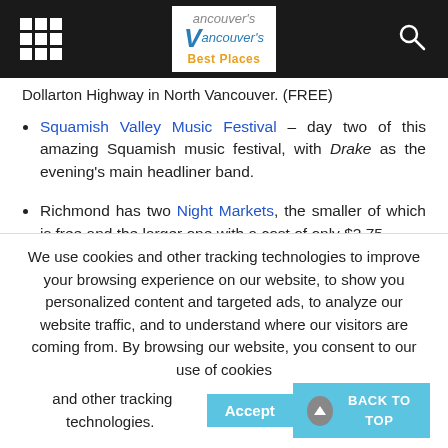Vancouver's Best Places
Dollarton Highway in North Vancouver. (FREE)
Squamish Valley Music Festival – day two of this amazing Squamish music festival, with Drake as the evening's main headliner band.
Richmond has two Night Markets, the smaller of which is free and the larger one with a cost of only $2.75.
Bard on the Beach Shakespeare Festival – afternoon
We use cookies and other tracking technologies to improve your browsing experience on our website, to show you personalized content and targeted ads, to analyze our website traffic, and to understand where our visitors are coming from. By browsing our website, you consent to our use of cookies and other tracking technologies.